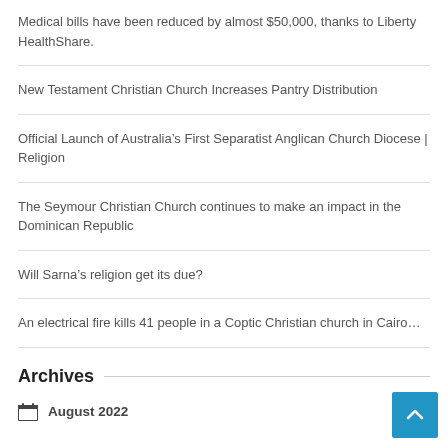Medical bills have been reduced by almost $50,000, thanks to Liberty HealthShare.
New Testament Christian Church Increases Pantry Distribution
Official Launch of Australia’s First Separatist Anglican Church Diocese | Religion
The Seymour Christian Church continues to make an impact in the Dominican Republic
Will Sarna’s religion get its due?
An electrical fire kills 41 people in a Coptic Christian church in Cairo…
Archives
August 2022